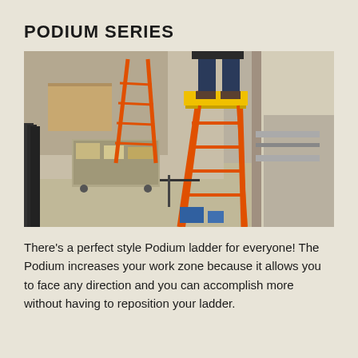PODIUM SERIES
[Figure (photo): A worker standing on an orange and yellow Podium ladder in a construction site interior, with tools, boxes, and additional orange ladders visible in the background.]
There's a perfect style Podium ladder for everyone! The Podium increases your work zone because it allows you to face any direction and you can accomplish more without having to reposition your ladder.